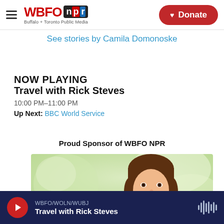WBFO NPR – Buffalo + Toronto Public Media – Donate
See stories by Camila Domonoske
NOW PLAYING
Travel with Rick Steves
10:00 PM–11:00 PM
Up Next: BBC World Service
Proud Sponsor of WBFO NPR
[Figure (photo): Photo of a smiling woman with brown hair against a soft green outdoor background, used as a sponsor advertisement.]
WBFO/WOLN/WUBJ – Travel with Rick Steves – player bar